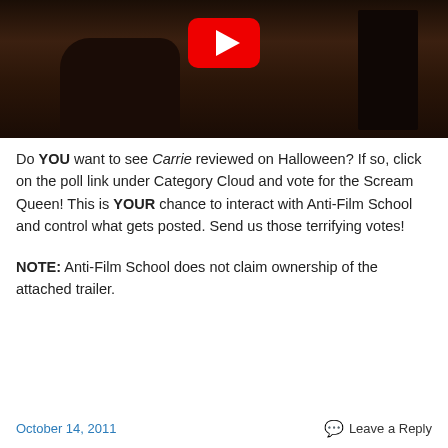[Figure (screenshot): YouTube video thumbnail showing a dark scene with two silhouetted figures and a YouTube play button in the center top]
Do YOU want to see Carrie reviewed on Halloween? If so, click on the poll link under Category Cloud and vote for the Scream Queen! This is YOUR chance to interact with Anti-Film School and control what gets posted. Send us those terrifying votes!
NOTE: Anti-Film School does not claim ownership of the attached trailer.
October 14, 2011    Leave a Reply